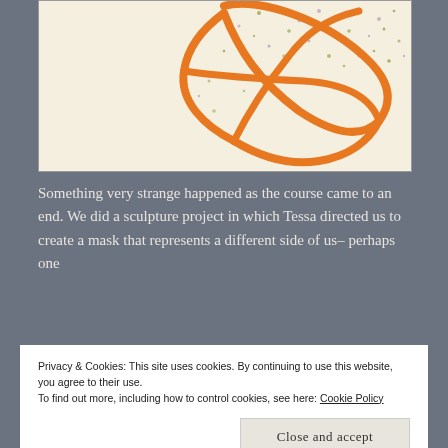[Figure (illustration): Abstract artwork on cream/off-white background featuring orange brushstroke lines forming a star or abstract shape, with colorful paint splatters (green, yellow, blue, purple dots) scattered across the background.]
Something very strange happened as the course came to an end. We did a sculpture project in which Tessa directed us to create a mask that represents a different side of us- perhaps one
Privacy & Cookies: This site uses cookies. By continuing to use this website, you agree to their use.
To find out more, including how to control cookies, see here: Cookie Policy
Close and accept
and narrow focus, something that I was